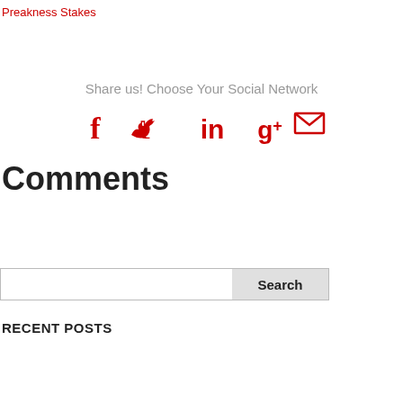Preakness Stakes
Share us! Choose Your Social Network
[Figure (infographic): Social media sharing icons: Facebook, Twitter, LinkedIn, Google+, Email — all in red]
Comments
Search
RECENT POSTS